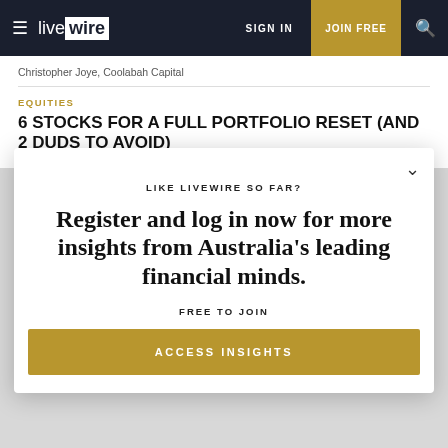livewire | SIGN IN | JOIN FREE
Christopher Joye, Coolabah Capital
EQUITIES
6 STOCKS FOR A FULL PORTFOLIO RESET (AND 2 DUDS TO AVOID)
LIKE LIVEWIRE SO FAR?
Register and log in now for more insights from Australia's leading financial minds.
FREE TO JOIN
ACCESS INSIGHTS